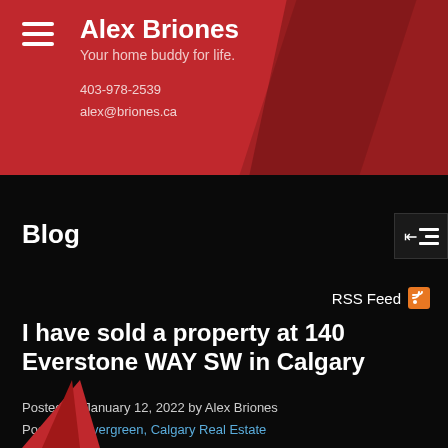Alex Briones
Your home buddy for life.
403-978-2539
alex@briones.ca
Blog
RSS Feed
I have sold a property at 140 Everstone WAY SW in Calgary
Posted on January 12, 2022 by Alex Briones
Posted in: Evergreen, Calgary Real Estate